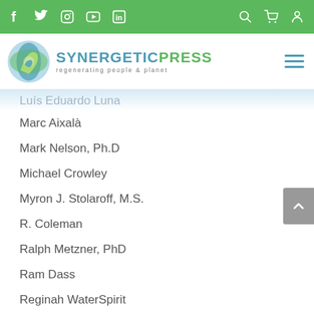Synergetic Press — social and navigation bar
Luís Eduardo Luna
Marc Aixalà
Mark Nelson, Ph.D
Michael Crowley
Myron J. Stolaroff, M.S.
R. Coleman
Ralph Metzner, PhD
Ram Dass
Reginah WaterSpirit
Richard Evans Schultes
Robert F. Raffauf